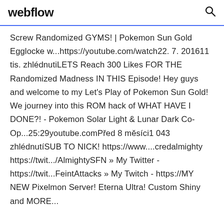webflow
Screw Randomized GYMS! | Pokemon Sun Gold Egglocke w...https://youtube.com/watch22. 7. 201611 tis. zhlédnutiLETS Reach 300 Likes FOR THE Randomized Madness IN THIS Episode! Hey guys and welcome to my Let's Play of Pokemon Sun Gold! We journey into this ROM hack of WHAT HAVE I DONE?! - Pokemon Solar Light & Lunar Dark Co-Op...25:29youtube.comPřed 8 měsíci1 043 zhlédnutíSUB TO NICK! https://www....credalmighty https://twit.../AlmightySFN » My Twitter - https://twit...FeintAttacks » My Twitch - https://MY NEW Pixelmon Server! Eterna Ultra! Custom Shiny and MORE... https://youtube.com/watchPřed 4 měsíci21 tis.